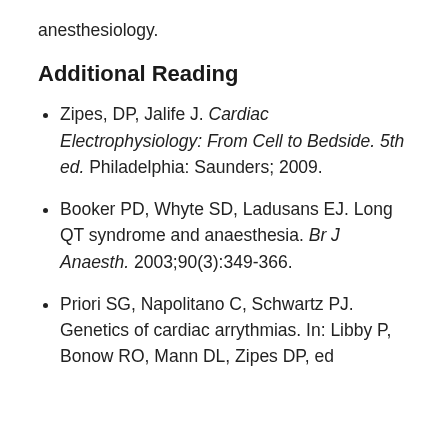anesthesiology.
Additional Reading
Zipes, DP, Jalife J. Cardiac Electrophysiology: From Cell to Bedside. 5th ed. Philadelphia: Saunders; 2009.
Booker PD, Whyte SD, Ladusans EJ. Long QT syndrome and anaesthesia. Br J Anaesth. 2003;90(3):349-366.
Priori SG, Napolitano C, Schwartz PJ. Genetics of cardiac arrythmias. In: Libby P, Bonow RO, Mann DL, Zipes DP, ed...